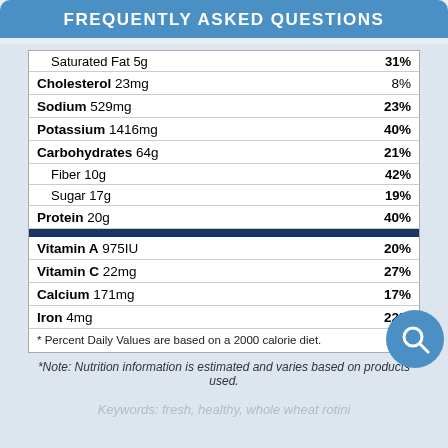FREQUENTLY ASKED QUESTIONS
| Nutrient | % Daily Value |
| --- | --- |
| Saturated Fat 5g | 31% |
| Cholesterol 23mg | 8% |
| Sodium 529mg | 23% |
| Potassium 1416mg | 40% |
| Carbohydrates 64g | 21% |
| Fiber 10g | 42% |
| Sugar 17g | 19% |
| Protein 20g | 40% |
| Vitamin A 975IU | 20% |
| Vitamin C 22mg | 27% |
| Calcium 171mg | 17% |
| Iron 4mg | 22% |
* Percent Daily Values are based on a 2000 calorie diet.
*Note: Nutrition information is estimated and varies based on products used.
Keywords: fresh, healthy, whole wheat rotini